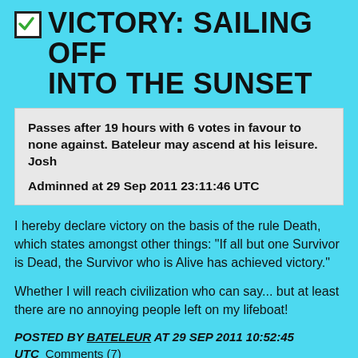VICTORY: SAILING OFF INTO THE SUNSET
Passes after 19 hours with 6 votes in favour to none against. Bateleur may ascend at his leisure. Josh

Adminned at 29 Sep 2011 23:11:46 UTC
I hereby declare victory on the basis of the rule Death, which states amongst other things: “If all but one Survivor is Dead, the Survivor who is Alive has achieved victory.”
Whether I will reach civilization who can say... but at least there are no annoying people left on my lifeboat!
POSTED BY BATELEUR AT 29 SEP 2011 10:52:45 UTC   Comments (7)